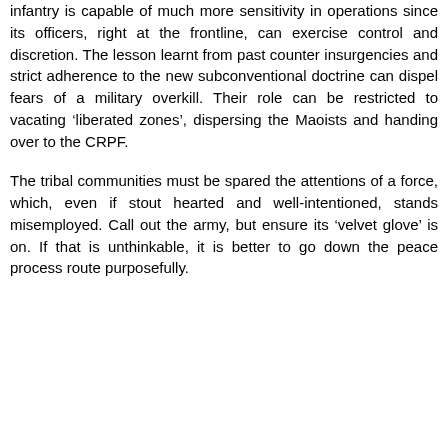infantry is capable of much more sensitivity in operations since its officers, right at the frontline, can exercise control and discretion. The lesson learnt from past counter insurgencies and strict adherence to the new subconventional doctrine can dispel fears of a military overkill. Their role can be restricted to vacating 'liberated zones', dispersing the Maoists and handing over to the CRPF.
The tribal communities must be spared the attentions of a force, which, even if stout hearted and well-intentioned, stands misemployed. Call out the army, but ensure its 'velvet glove' is on. If that is unthinkable, it is better to go down the peace process route purposefully.